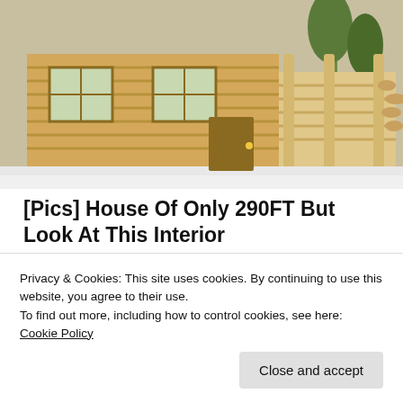[Figure (photo): Exterior photo of a log cabin house with wooden porch and logs stacked, winter outdoor setting]
[Pics] House Of Only 290FT But Look At This Interior
TheDecorIdeas
[Figure (photo): Portrait photo of a blonde woman with red lipstick]
The 5 Books To Read To Transform Your Life in 2022
Blinkist
Privacy & Cookies: This site uses cookies. By continuing to use this website, you agree to their use.
To find out more, including how to control cookies, see here: Cookie Policy
Close and accept